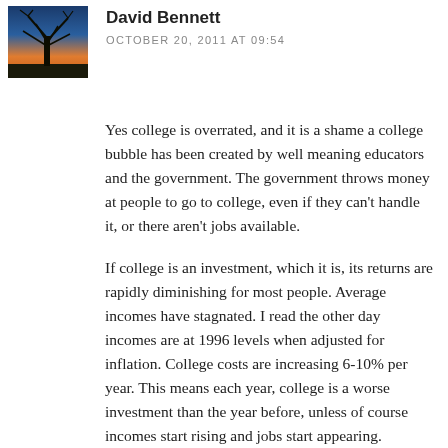[Figure (photo): Avatar photo showing a tree silhouette against a sunset/dusk sky with blue and orange tones]
David Bennett
OCTOBER 20, 2011 AT 09:54
Yes college is overrated, and it is a shame a college bubble has been created by well meaning educators and the government. The government throws money at people to go to college, even if they can't handle it, or there aren't jobs available.
If college is an investment, which it is, its returns are rapidly diminishing for most people. Average incomes have stagnated. I read the other day incomes are at 1996 levels when adjusted for inflation. College costs are increasing 6-10% per year. This means each year, college is a worse investment than the year before, unless of course incomes start rising and jobs start appearing.